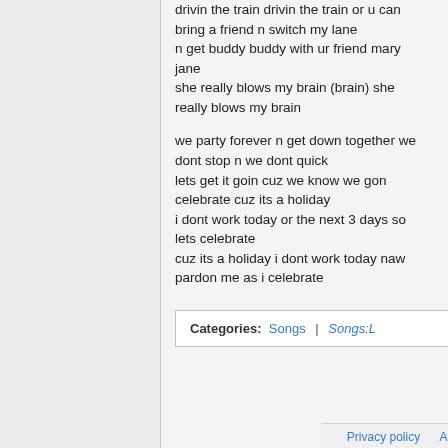drivin the train drivin the train or u can bring a friend n switch my lane
n get buddy buddy with ur friend mary jane
she really blows my brain (brain) she really blows my brain
we party forever n get down together we dont stop n we dont quick
lets get it goin cuz we know we gon celebrate cuz its a holiday
i dont work today or the next 3 days so lets celebrate
cuz its a holiday i dont work today naw pardon me as i celebrate
Categories: Songs | Songs:L
Privacy policy  About Lyriki  Disclaimers